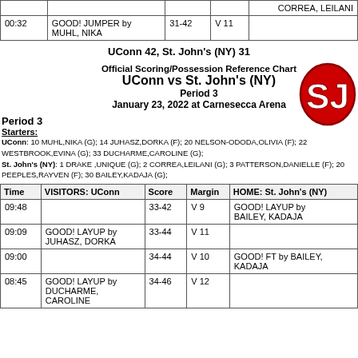| Time | VISITORS: UConn | Score | Margin | HOME: St. John's (NY) |
| --- | --- | --- | --- | --- |
|  |  |  |  | CORREA, LEILANI |
| 00:32 | GOOD! JUMPER by MUHL, NIKA | 31-42 | V 11 |  |
UConn 42, St. John's (NY) 31
Official Scoring/Possession Reference Chart
UConn vs St. John's (NY)
Period 3
January 23, 2022 at Carnesecca Arena
Period 3
Starters:
UConn: 10 MUHL,NIKA (G); 14 JUHASZ,DORKA (F); 20 NELSON-ODODA,OLIVIA (F); 22 WESTBROOK,EVINA (G); 33 DUCHARME,CAROLINE (G);
St. John's (NY): 1 DRAKE ,UNIQUE (G); 2 CORREA,LEILANI (G); 3 PATTERSON,DANIELLE (F); 20 PEEPLES,RAYVEN (F); 30 BAILEY,KADAJA (G);
| Time | VISITORS: UConn | Score | Margin | HOME: St. John's (NY) |
| --- | --- | --- | --- | --- |
| 09:48 |  | 33-42 | V 9 | GOOD! LAYUP by BAILEY, KADAJA |
| 09:09 | GOOD! LAYUP by JUHASZ, DORKA | 33-44 | V 11 |  |
| 09:00 |  | 34-44 | V 10 | GOOD! FT by BAILEY, KADAJA |
| 08:45 | GOOD! LAYUP by DUCHARME, CAROLINE | 34-46 | V 12 |  |